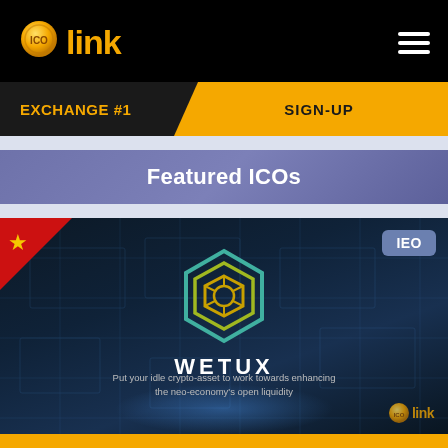ICOlink logo and navigation menu
EXCHANGE #1
SIGN-UP
Featured ICOs
[Figure (illustration): WETUX IEO featured ICO card with hexagonal logo, star badge, IEO label, tagline 'Put your idle crypto-asset to work towards enhancing the neo-economy's open liquidity', and ICOlink watermark on dark blue background with tech grid overlay.]